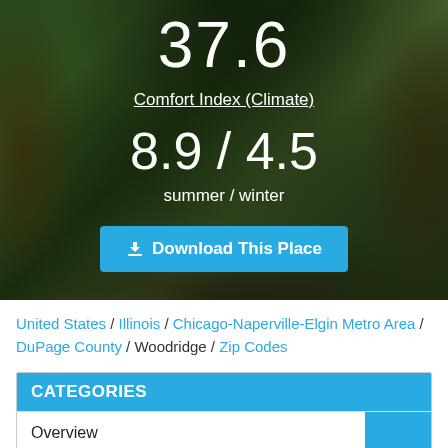[Figure (photo): Forest/nature background image with dark overlay, showing trees and foliage]
37.6
Comfort Index (Climate)
8.9 / 4.5
summer / winter
Download This Place
United States / Illinois / Chicago-Naperville-Elgin Metro Area / DuPage County / Woodridge / Zip Codes
CATEGORIES
Overview
Real Estate
Cost of Living